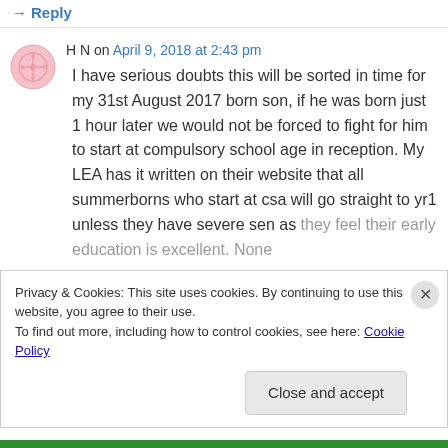↳ Reply
H N on April 9, 2018 at 2:43 pm
I have serious doubts this will be sorted in time for my 31st August 2017 born son, if he was born just 1 hour later we would not be forced to fight for him to start at compulsory school age in reception. My LEA has it written on their website that all summerborns who start at csa will go straight to yr1 unless they have severe sen as they feel their early education is excellent. None
Privacy & Cookies: This site uses cookies. By continuing to use this website, you agree to their use.
To find out more, including how to control cookies, see here: Cookie Policy
Close and accept